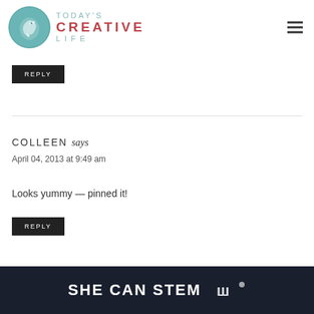[Figure (logo): Today's Creative Life blog logo with teal bird circle icon and text]
REPLY
COLLEEN says
April 04, 2013 at 9:49 am
Looks yummy — pinned it!
REPLY
[Figure (screenshot): SHE CAN STEM dark banner ad with white bold text and logo mark]